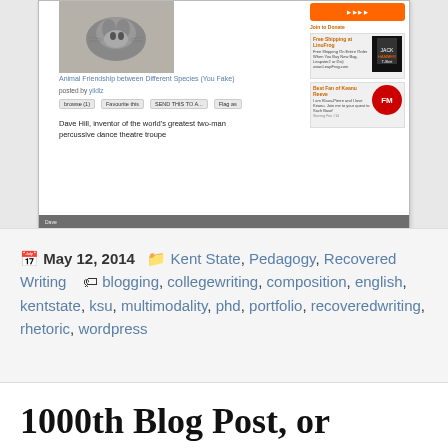[Figure (screenshot): Screenshot of a web page showing a cat photo, caption 'Animal Friendship between Different Species (You Fake)', posted by yildiz, with buttons and text 'Dave Hill, inventor of the world's greatest two-man percussive dance theatre troupe'. Right side shows ads including an orange button, a t-shirt ad, and an FM radio ad.]
May 12, 2014  Kent State, Pedagogy, Recovered Writing  blogging, collegewriting, composition, english, kentstate, ksu, multimodality, phd, portfolio, recoveredwriting, rhetoric, wordpress
1000th Blog Post, or Randomly Meeting a Student Bound for the